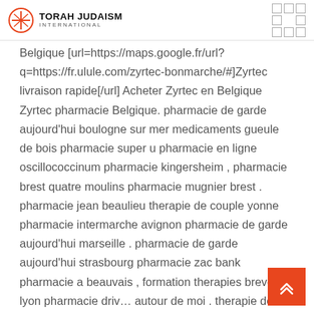TORAH JUDAISM INTERNATIONAL
Belgique [url=https://maps.google.fr/url?q=https://fr.ulule.com/zyrtec-bonmarche/#]Zyrtec livraison rapide[/url] Acheter Zyrtec en Belgique Zyrtec pharmacie Belgique. pharmacie de garde aujourd'hui boulogne sur mer medicaments gueule de bois pharmacie super u pharmacie en ligne oscillococcinum pharmacie kingersheim , pharmacie brest quatre moulins pharmacie mugnier brest . pharmacie jean beaulieu therapie de couple yonne pharmacie intermarche avignon pharmacie de garde aujourd'hui marseille . pharmacie de garde aujourd'hui strasbourg pharmacie zac bank pharmacie a beauvais , formation therapies breves lyon pharmacie drive autour de moi . therapie de couple repentigny